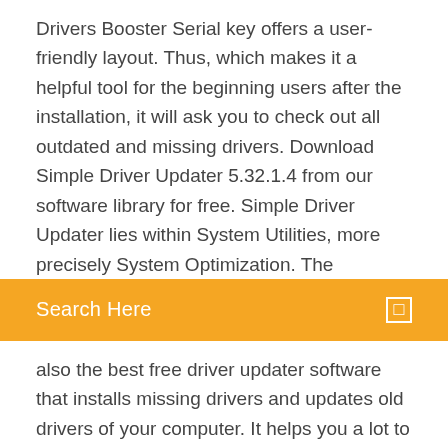Drivers Booster Serial key offers a user-friendly layout. Thus, which makes it a helpful tool for the beginning users after the installation, it will ask you to check out all outdated and missing drivers. Download Simple Driver Updater 5.32.1.4 from our software library for free. Simple Driver Updater lies within System Utilities, more precisely System Optimization. The
[Figure (screenshot): Orange search bar with text 'Search Here' and a small square icon on the right]
also the best free driver updater software that installs missing drivers and updates old drivers of your computer. It helps you a lot to find out the best matching updated drivers for any devices. It lets you download various drivers at once for your different types of devices. If you face driver related issues such as failing to download driver for your PC, some of the drivers have out of date (Old Driver) and you fail to download missing drivers then move on IObit Driver Booster. Download the tool from their official website and install it to your computer and install it on your system to find the best updated drivers of